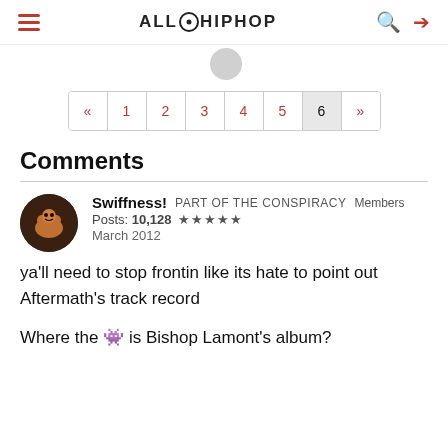ALLHIPHOP
« 1 2 3 4 5 6 »
Comments
Swiffness!  PART OF THE CONSPIRACY  Members
Posts: 10,128  ★★★★★
March 2012
ya'll need to stop frontin like its hate to point out Aftermath's track record

Where the 👾 is Bishop Lamont's album?